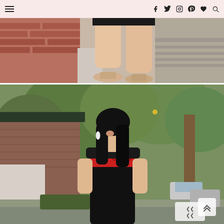Navigation bar with hamburger menu and social icons: Facebook, Twitter, Instagram, Pinterest, Bloglovin, Search
[Figure (photo): Close-up photo of a person's legs wearing a short dark skirt and beige/nude heels, standing on a brick and concrete sidewalk]
[Figure (photo): Fashion blog photo of a young Asian woman wearing a black off-shoulder dress with red floral embroidery, smiling and walking on a tree-lined street with brick buildings]